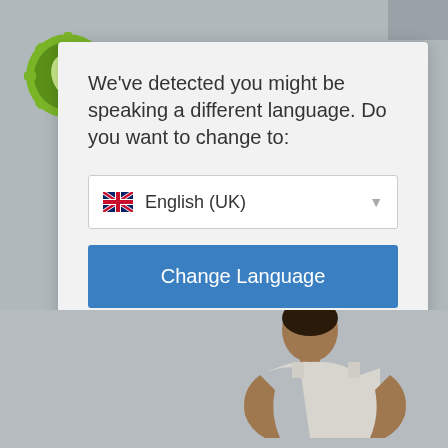[Figure (screenshot): Website screenshot showing a language change modal dialog over a grey background. Top left has a green circular logo. Top right shows navigation with 'U' and hamburger menu icon. The modal has text asking to change language, a dropdown showing 'English (UK)' with UK flag, a blue 'Change Language' button, and a 'Close and do not switch language' link. Bottom of page shows partial photo of a person in athletic wear.]
We've detected you might be speaking a different language. Do you want to change to:
English (UK)
Change Language
Close and do not switch language